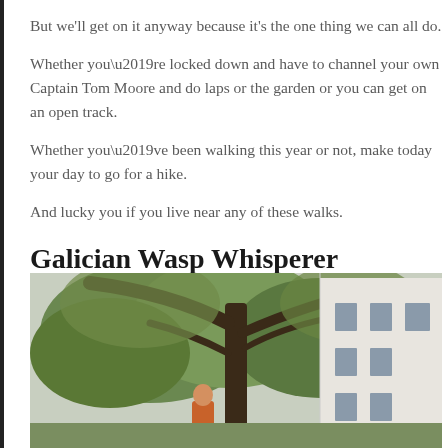But we'll get on it anyway because it's the one thing we can all do.
Whether you’re locked down and have to channel your own Captain Tom Moore and do laps or the garden or you can get on an open track.
Whether you’ve been walking this year or not, make today your day to go for a hike.
And lucky you if you live near any of these walks.
Galician Wasp Whisperer
[Figure (photo): Outdoor photo showing a large tree with spreading branches, a white building facade on the right, and a figure in orange/red clothing at the bottom center.]